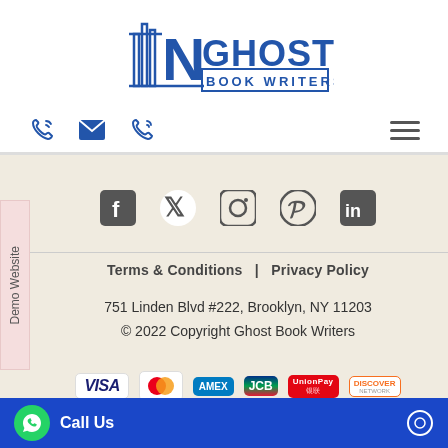[Figure (logo): Ghost Book Writers logo with book/spine graphic and blue text]
[Figure (infographic): Navigation bar with phone icon, email icon, phone icon, and hamburger menu icon]
[Figure (infographic): Demo Website side tab label in rotated text]
[Figure (infographic): Social media icons row: Facebook, Twitter, Instagram, Pinterest, LinkedIn]
Terms & Conditions  |  Privacy Policy
751 Linden Blvd #222, Brooklyn, NY 11203
© 2022 Copyright Ghost Book Writers
[Figure (infographic): Payment method logos: VISA, Mastercard, AMEX, JCB, UnionPay, Discover]
[Figure (infographic): Blue bottom bar with WhatsApp button, Call Us text, and chat icon]